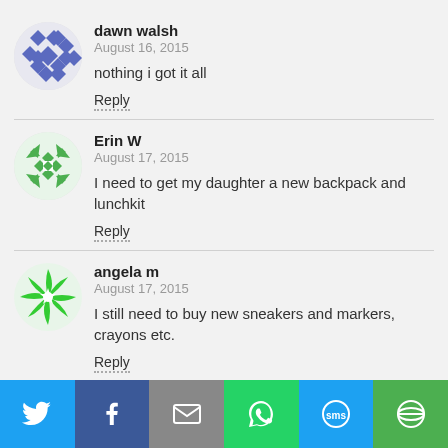[Figure (illustration): Blue geometric diamond pattern avatar for dawn walsh]
dawn walsh
August 16, 2015
nothing i got it all
Reply
[Figure (illustration): Green geometric pattern avatar for Erin W]
Erin W
August 17, 2015
I need to get my daughter a new backpack and lunchkit
Reply
[Figure (illustration): Green pinwheel pattern avatar for angela m]
angela m
August 17, 2015
I still need to buy new sneakers and markers, crayons etc.
Reply
[Figure (infographic): Social sharing bar with Twitter, Facebook, Email, WhatsApp, SMS, and Share icons]